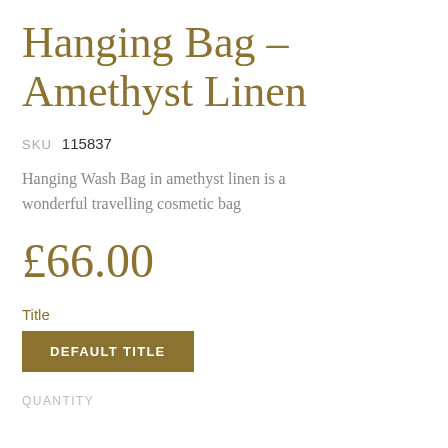Hanging Bag - Amethyst Linen
SKU  115837
Hanging Wash Bag in amethyst linen is a wonderful travelling cosmetic bag
£66.00
Title
DEFAULT TITLE
QUANTITY